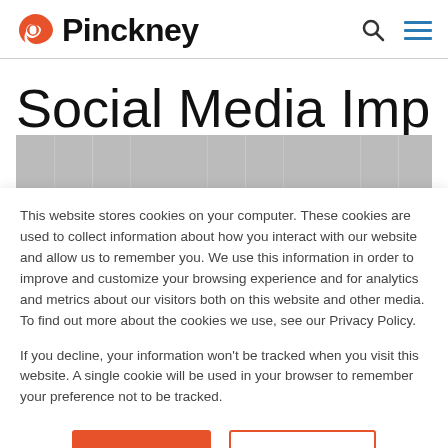Pinckney
Social Media Impact |
This website stores cookies on your computer. These cookies are used to collect information about how you interact with our website and allow us to remember you. We use this information in order to improve and customize your browsing experience and for analytics and metrics about our visitors both on this website and other media. To find out more about the cookies we use, see our Privacy Policy.
If you decline, your information won't be tracked when you visit this website. A single cookie will be used in your browser to remember your preference not to be tracked.